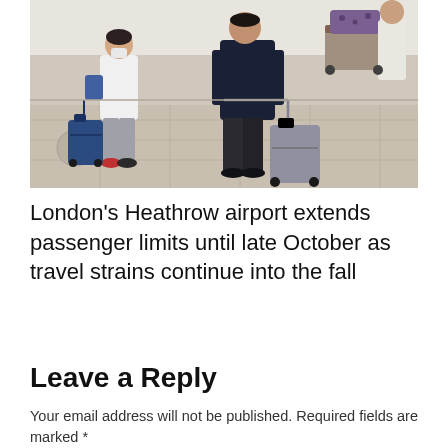[Figure (photo): Travelers at London Heathrow airport walking with luggage - a person in white jacket with a blue suitcase and another in dark clothing pulling a grey suitcase, with luggage cart in background]
London's Heathrow airport extends passenger limits until late October as travel strains continue into the fall
Leave a Reply
Your email address will not be published. Required fields are marked *